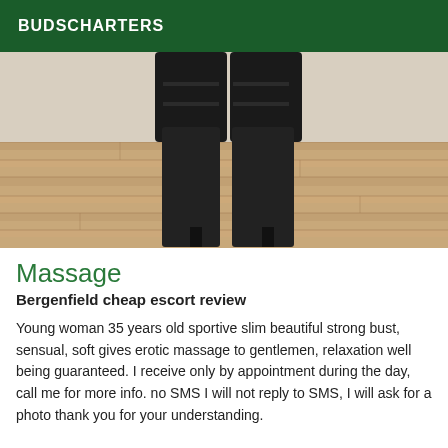BUDSCHARTERS
[Figure (photo): Lower legs and boots of a person wearing tall black high-heeled boots, standing on a light wood laminate floor, photographed from behind.]
Massage
Bergenfield cheap escort review
Young woman 35 years old sportive slim beautiful strong bust, sensual, soft gives erotic massage to gentlemen, relaxation well being guaranteed. I receive only by appointment during the day, call me for more info. no SMS I will not reply to SMS, I will ask for a photo thank you for your understanding.